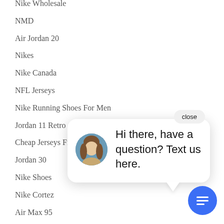Nike Wholesale
NMD
Air Jordan 20
Nikes
Nike Canada
NFL Jerseys
Nike Running Shoes For Men
Jordan 11 Retro
Cheap Jerseys From China
Jordan 30
Nike Shoes
Nike Cortez
Air Max 95
Nike Free Run
Huaraches
Nike Clearance Store
Jordan 18
[Figure (screenshot): Live chat popup with a woman's avatar and the message 'Hi there, have a question? Text us here.' with a close button and a blue chat bubble button.]